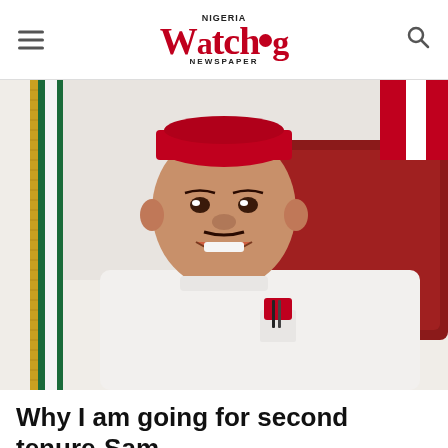Nigeria Watchdog Newspaper
[Figure (photo): Portrait photo of a smiling man wearing a white traditional Nigerian outfit and red cap, seated in an office with a red chair. A Nigerian flag is visible on the left side. He has a pen in his breast pocket with a red cloth.]
Why I am going for second tenure-Sam